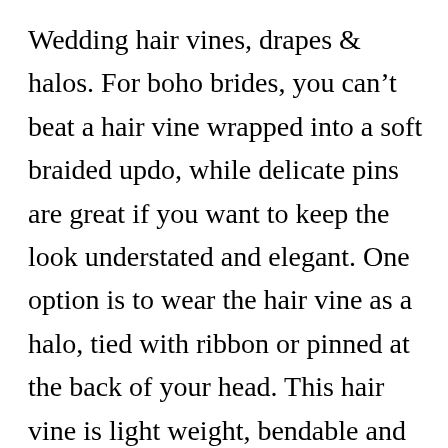Wedding hair vines, drapes & halos. For boho brides, you can't beat a hair vine wrapped into a soft braided updo, while delicate pins are great if you want to keep the look understated and elegant. One option is to wear the hair vine as a halo, tied with ribbon or pinned at the back of your head. This hair vine is light weight, bendable and very versatile, it may be styled into the hair in many different ways. Unicra bride wedding rhinestone hair vine bridal silver hair piece crystal headband hair